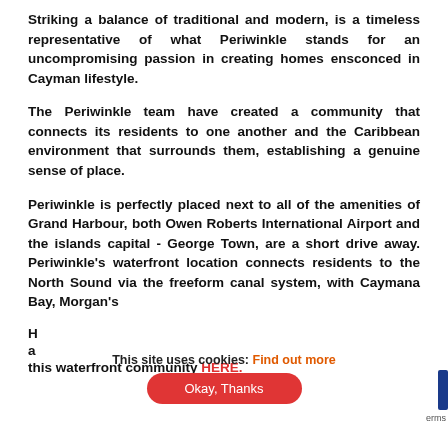Striking a balance of traditional and modern, is a timeless representative of what Periwinkle stands for an uncompromising passion in creating homes ensconced in Cayman lifestyle.
The Periwinkle team have created a community that connects its residents to one another and the Caribbean environment that surrounds them, establishing a genuine sense of place.
Periwinkle is perfectly placed next to all of the amenities of Grand Harbour, both Owen Roberts International Airport and the islands capital - George Town, are a short drive away. Periwinkle's waterfront location connects residents to the North Sound via the freeform canal system, with Caymana Bay, Morgan's H[obscured by cookie banner] a[obscured] this waterfront community HERE.
This site uses cookies: Find out more
Okay, Thanks